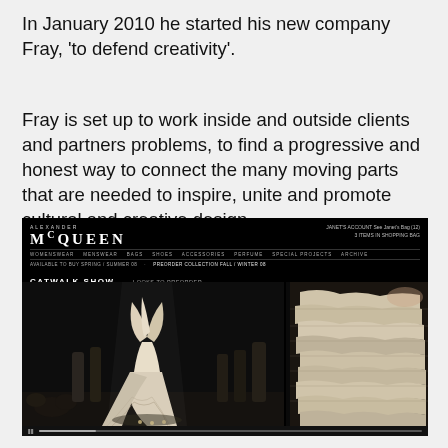In January 2010 he started his new company Fray, 'to defend creativity'.
Fray is set up to work inside and outside clients and partners problems, to find a progressive and honest way to connect the many moving parts that are needed to inspire, unite and promote cultural and creative design.
[Figure (screenshot): Screenshot of the Alexander McQueen website showing a catwalk show page with the MQUEEN logo in large serif text, navigation menu items (WOMENSWEAR, MENSWEAR, BAGS, SHOES, ACCESSORIES, PERFUME, SPECIAL PROJECTS, ARCHIVE), a CATWALK SHOW section header with LOOKS TO PREORDER link, and two fashion show images: a left panel showing models on a dark runway with an elaborate white sculptural dress in the foreground, and a right panel showing a close-up of ornate layered ivory/cream fabric detail. A video player control bar is visible at the bottom.]